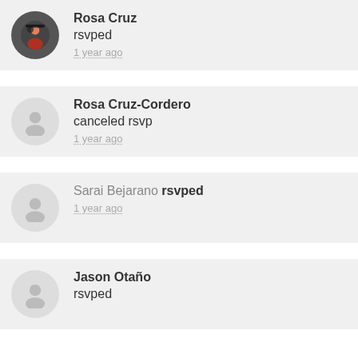Rosa Cruz rsvped 1 year ago
Rosa Cruz-Cordero canceled rsvp 1 year ago
Sarai Bejarano rsvped 1 year ago
Jason Otaño rsvped